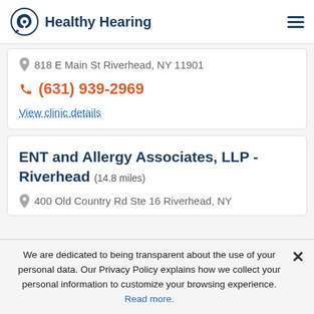Healthy Hearing
818 E Main St Riverhead, NY 11901
(631) 939-2969
View clinic details
ENT and Allergy Associates, LLP - Riverhead (14.8 miles)
400 Old Country Rd Ste 16 Riverhead, NY
We are dedicated to being transparent about the use of your personal data. Our Privacy Policy explains how we collect your personal information to customize your browsing experience. Read more.